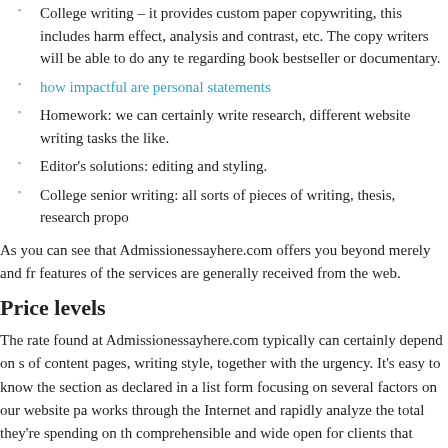College writing – it provides custom paper copywriting, this includes harm effect, analysis and contrast, etc. The copy writers will be able to do any te regarding book bestseller or documentary.
how impactful are personal statements
Homework: we can certainly write research, different website writing tasks the like.
Editor's solutions: editing and styling.
College senior writing: all sorts of pieces of writing, thesis, research propo
As you can see that Admissionessayhere.com offers you beyond merely and fr features of the services are generally received from the web.
Price levels
The rate found at Admissionessayhere.com typically can certainly depend on s of content pages, writing style, together with the urgency. It's easy to know the section as declared in a list form focusing on several factors on our website pa works through the Internet and rapidly analyze the total they're spending on th comprehensible and wide open for clients that Admissionessayhere.com won'